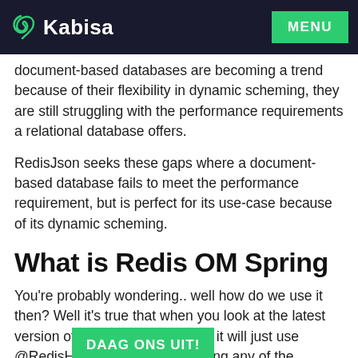Kabisa | MENU
document-based databases are becoming a trend because of their flexibility in dynamic scheming, they are still struggling with the performance requirements a relational database offers.
RedisJson seeks these gaps where a document-based database fails to meet the performance requirement, but is perfect for its use-case because of its dynamic scheming.
What is Redis OM Spring
You're probably wondering.. well how do we use it then? Well it's true that when you look at the latest version of the Sp___ry it will just use @RedisHash an___ging any of the features mentioned above. Which is why you need